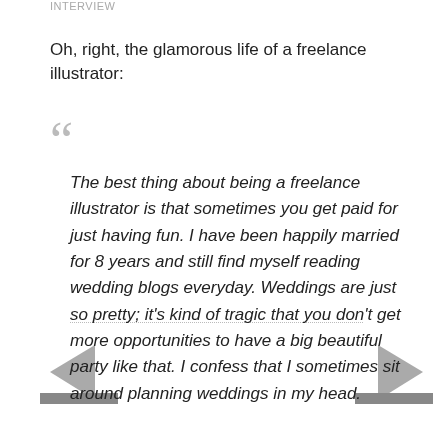INTERVIEW
Oh, right, the glamorous life of a freelance illustrator:
The best thing about being a freelance illustrator is that sometimes you get paid for just having fun. I have been happily married for 8 years and still find myself reading wedding blogs everyday. Weddings are just so pretty; it's kind of tragic that you don't get more opportunities to have a big beautiful party like that. I confess that I sometimes sit around planning weddings in my head.